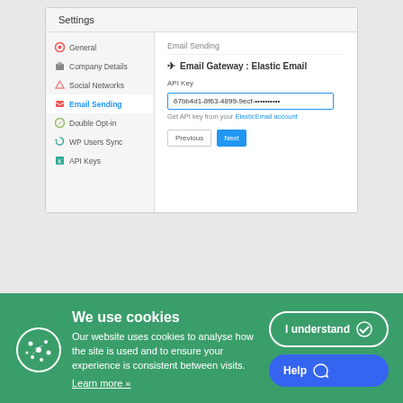[Figure (screenshot): WordPress plugin Settings panel showing Email Sending configuration with Email Gateway: Elastic Email, API Key input field with masked value, and Previous/Next navigation buttons. Left sidebar shows navigation items: General, Company Details, Social Networks, Email Sending (active), Double Opt-in, WP Users Sync, API Keys.]
[Figure (infographic): Green cookie consent banner with cookie icon, title 'We use cookies', explanatory text about cookie usage, 'Learn more »' link, 'I understand' button with checkmark, and 'Help' button with speech bubble icon.]